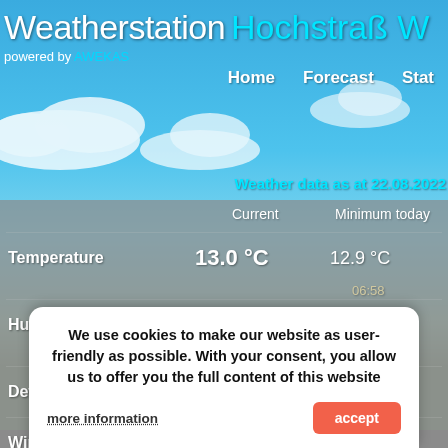Weatherstation Hochstraß W
powered by AWEKAS
Home   Forecast   Stat
Weather data as at 22.08.2022
|  | Current | Minimum today |
| --- | --- | --- |
| Temperature | 13.0 °C | 12.9 °C
06:58 |
| Humidity | 99 % | 94 %
00:08 |
| Dew point | 13.0 °C | 12.9 °C |
| Windchill | 13.0 hPa |  |
| Air pressure at sea level | 1012.5 hPa |  |
We use cookies to make our website as user-friendly as possible. With your consent, you allow us to offer you the full content of this website
more information
accept